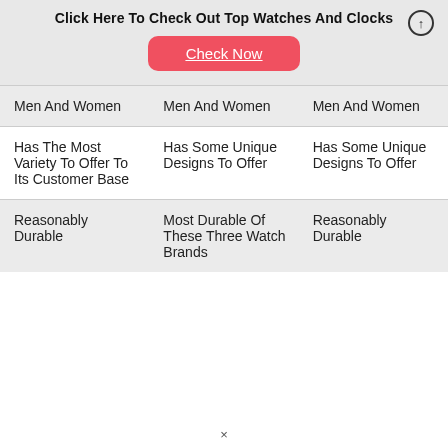Click Here To Check Out Top Watches And Clocks
Check Now
| Men And Women | Men And Women | Men And Women |
| Has The Most Variety To Offer To Its Customer Base | Has Some Unique Designs To Offer | Has Some Unique Designs To Offer |
| Reasonably Durable | Most Durable Of These Three Watch Brands | Reasonably Durable |
×